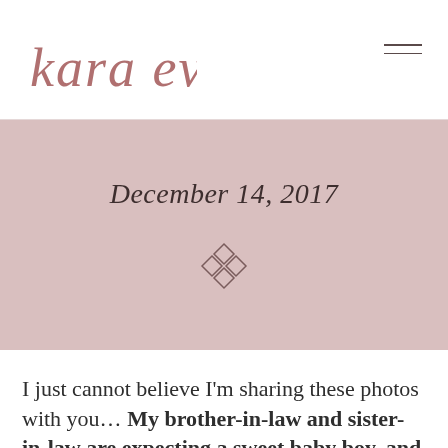kara evans
December 14, 2017
[Figure (illustration): Decorative diamond/crosshatch geometric icon in mauve color]
I just cannot believe I'm sharing these photos with you… My brother-in-law and sister-in-law are expecting a sweet baby boy, and we cannot